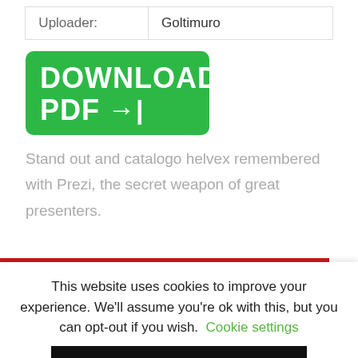| Uploader: | Goltimuro |
[Figure (other): Green download button with white bold text reading 'DOWNLOAD PDF' and a right-arrow icon]
Stand out and catalogo helvex remembered with Prezi, the secret weapon of great presenters.
This website uses cookies to improve your experience. We'll assume you're ok with this, but you can opt-out if you wish. Cookie settings
ACCEPT